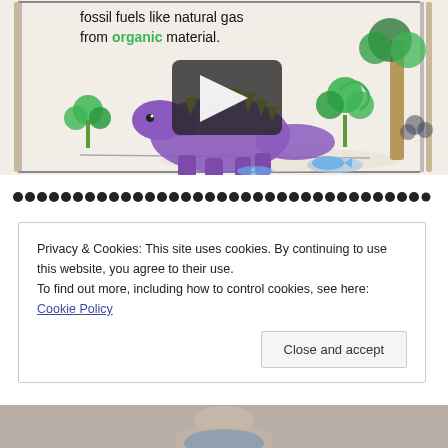[Figure (screenshot): Video thumbnail showing a child's hand-drawn cartoon animation frame. Text reads 'fossil fuels like natural gas from organic material.' with a colored dinosaur (purple stegosaurus with yellow spines) and green plants. A large play button is overlaid on the center of the image.]
••••••••••••••••••••••••••••••••••••••••••••••••••••••
Privacy & Cookies: This site uses cookies. By continuing to use this website, you agree to their use.
To find out more, including how to control cookies, see here: Cookie Policy